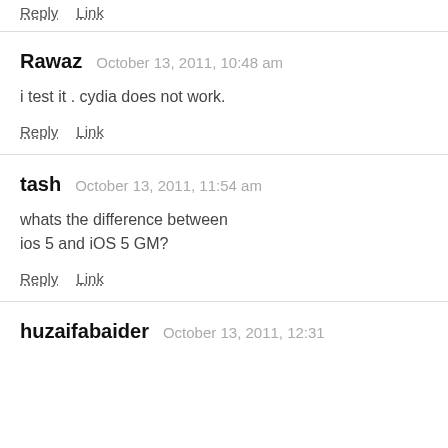Reply   Link
Rawaz   October 13, 2011, 10:48 am
i test it . cydia does not work.
Reply   Link
tash   October 13, 2011, 11:54 am
whats the difference between ios 5 and iOS 5 GM?
Reply   Link
huzaifabaider   October 13, 2011, 12:31